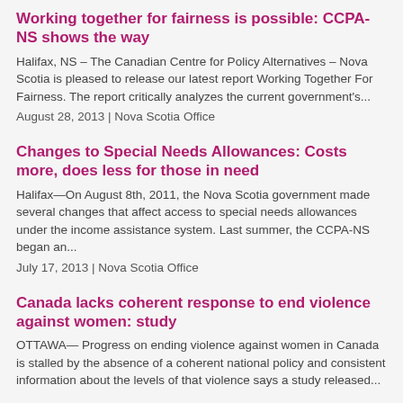Working together for fairness is possible: CCPA-NS shows the way
Halifax, NS – The Canadian Centre for Policy Alternatives – Nova Scotia is pleased to release our latest report Working Together For Fairness.  The report critically analyzes the current government's...
August 28, 2013 | Nova Scotia Office
Changes to Special Needs Allowances: Costs more, does less for those in need
Halifax—On August 8th, 2011, the Nova Scotia government made several changes that affect access to special needs allowances under the income assistance system. Last summer, the CCPA-NS began an...
July 17, 2013 | Nova Scotia Office
Canada lacks coherent response to end violence against women: study
OTTAWA— Progress on ending violence against women in Canada is stalled by the absence of a coherent national policy and consistent information about the levels of that violence says a study released...